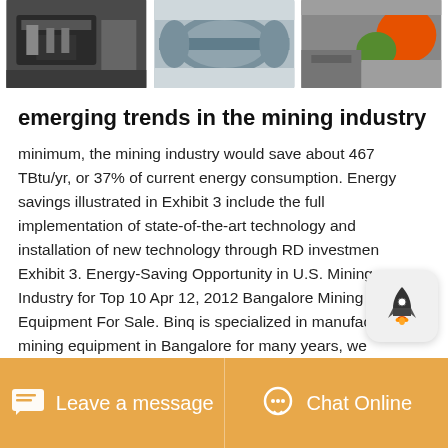[Figure (photo): Three side-by-side photos of industrial mining equipment]
emerging trends in the mining industry
minimum, the mining industry would save about 467 TBtu/yr, or 37% of current energy consumption. Energy savings illustrated in Exhibit 3 include the full implementation of state-of-the-art technology and installation of new technology through RD investment. Exhibit 3. Energy-Saving Opportunity in U.S. Mining Industry for Top 10 Apr 12, 2012 Bangalore Mining Equipment For Sale. Binq is specialized in manufacturing mining equipment in Bangalore for many years, we recommend you jaw crusher for raw Mineral, it has the advantages of big crushing ratio, even particle size, simple
[Figure (illustration): Rocket badge/icon overlay]
Leave a message   Chat Online